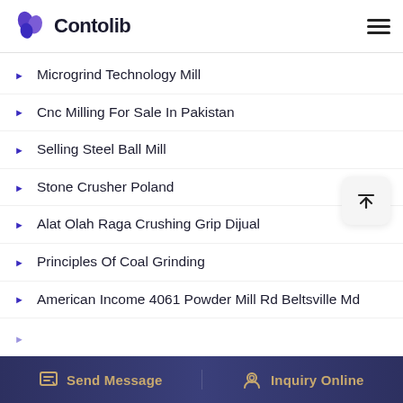Contolib
Microgrind Technology Mill
Cnc Milling For Sale In Pakistan
Selling Steel Ball Mill
Stone Crusher Poland
Alat Olah Raga Crushing Grip Dijual
Principles Of Coal Grinding
American Income 4061 Powder Mill Rd Beltsville Md
Send Message | Inquiry Online